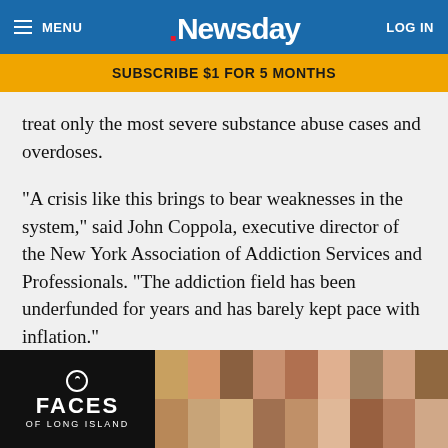MENU | Newsday | LOG IN
SUBSCRIBE $1 FOR 5 MONTHS
treat only the most severe substance abuse cases and overdoses.
“A crisis like this brings to bear weaknesses in the system,” said John Coppola, executive director of the New York Association of Addiction Services and Professionals. “The addiction field has been underfunded for years and has barely kept pace with inflation.”
Treatment professionals say the coronavirus outbreak could not have come at a worse time, just as Long Island appears to have finally turned the corner on the opioid crisis.
[Figure (other): FACES OF LONG ISLAND advertisement banner with a grid of headshot photos]